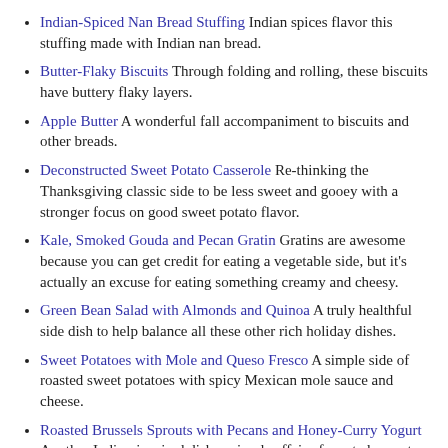Indian-Spiced Nan Bread Stuffing Indian spices flavor this stuffing made with Indian nan bread.
Butter-Flaky Biscuits Through folding and rolling, these biscuits have buttery flaky layers.
Apple Butter A wonderful fall accompaniment to biscuits and other breads.
Deconstructed Sweet Potato Casserole Re-thinking the Thanksgiving classic side to be less sweet and gooey with a stronger focus on good sweet potato flavor.
Kale, Smoked Gouda and Pecan Gratin Gratins are awesome because you can get credit for eating a vegetable side, but it's actually an excuse for eating something creamy and cheesy.
Green Bean Salad with Almonds and Quinoa A truly healthful side dish to help balance all these other rich holiday dishes.
Sweet Potatoes with Mole and Queso Fresco A simple side of roasted sweet potatoes with spicy Mexican mole sauce and cheese.
Roasted Brussels Sprouts with Pecans and Honey-Curry Yogurt Another Indian-inspired dish, a simple affair of roasted sprouts and pecans with yogurt mixed with honey and curry